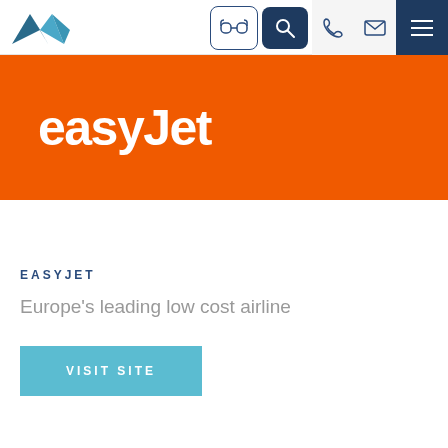Navigation bar with logo, goggles icon, search icon, phone icon, email icon, hamburger menu
[Figure (logo): easyJet logo in white text on orange background banner]
EASYJET
Europe's leading low cost airline
VISIT SITE